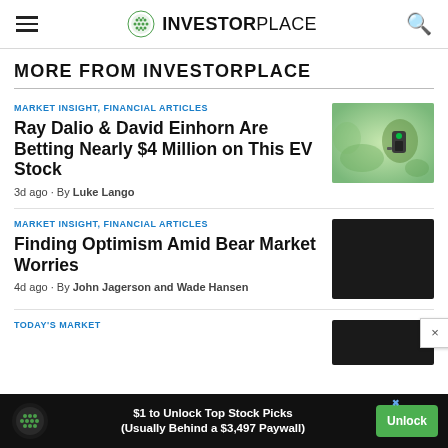INVESTORPLACE
MORE FROM INVESTORPLACE
MARKET INSIGHT, FINANCIAL ARTICLES
Ray Dalio & David Einhorn Are Betting Nearly $4 Million on This EV Stock
3d ago · By Luke Lango
[Figure (photo): Electric vehicle charging port with green foliage background]
MARKET INSIGHT, FINANCIAL ARTICLES
Finding Optimism Amid Bear Market Worries
4d ago · By John Jagerson and Wade Hansen
[Figure (photo): Dark/black image placeholder]
TODAY'S MARKET
[Figure (photo): Dark image thumbnail partially visible]
$1 to Unlock Top Stock Picks (Usually Behind a $3,497 Paywall)  Unlock